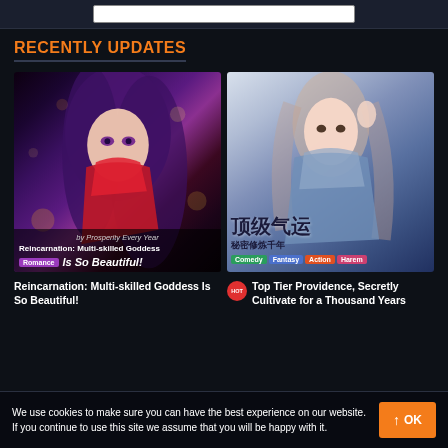RECENTLY UPDATES
[Figure (illustration): Anime girl with purple hair in red dress, fantasy art style. Tags: Romance. Title overlay: 'Reincarnation: Multi-skilled Goddess Is So Beautiful!' by Prosperity Every Year]
[Figure (illustration): Beautiful woman in blue/grey outfit, Chinese fantasy art style. Tags: Comedy, Fantasy, Action, Harem. Chinese characters overlay.]
Reincarnation: Multi-skilled Goddess Is So Beautiful!
Top Tier Providence, Secretly Cultivate for a Thousand Years
We use cookies to make sure you can have the best experience on our website. If you continue to use this site we assume that you will be happy with it.